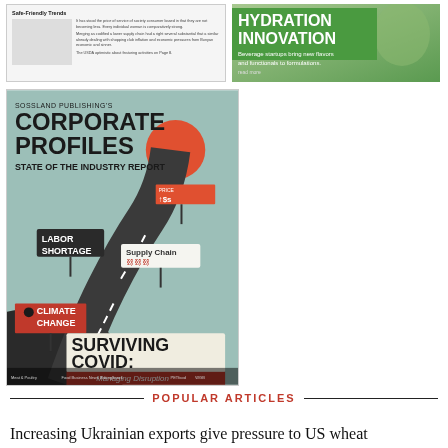[Figure (illustration): Top-left thumbnail: article preview with small text, 'Safe-Friendly Trends' visible]
[Figure (photo): Top-right thumbnail: green background with text 'HYDRATION INNOVATION' and subtext 'Beverage startups bring new flavors and functionals to formulations.']
[Figure (illustration): Sossland Publishing's Corporate Profiles - State of the Industry Report cover image. Features a winding road with signs: Labor Shortage, Supply Chain, Climate Change, price signs. Title reads 'SURVIVING COVID: Managing Disruption']
POPULAR ARTICLES
Increasing Ukrainian exports give pressure to US wheat